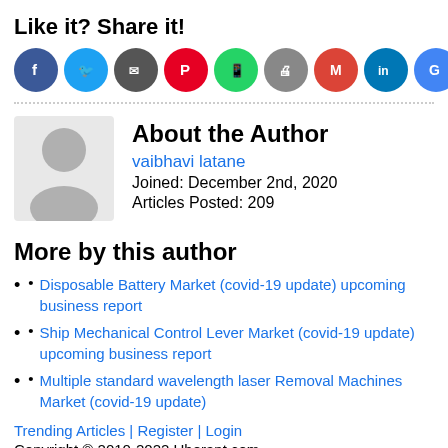Like it? Share it!
[Figure (illustration): Row of social media share icon circles: Facebook (blue, f), Twitter (light blue, bird), Email/share (dark gray), Pinterest (red, P), WhatsApp (green), Print (gray), Gmail (red, M), LinkedIn (dark blue, in), Google (blue, G), More (orange-red, +)]
[Figure (illustration): Gray placeholder avatar silhouette (person icon)]
About the Author
vaibhavi latane
Joined: December 2nd, 2020
Articles Posted: 209
More by this author
Disposable Battery Market (covid-19 update) upcoming business report
Ship Mechanical Control Lever Market (covid-19 update) upcoming business report
Multiple standard wavelength laser Removal Machines Market (covid-19 update)
Trending Articles | Register | Login
Copyright © 2010-2022 Uberant.com